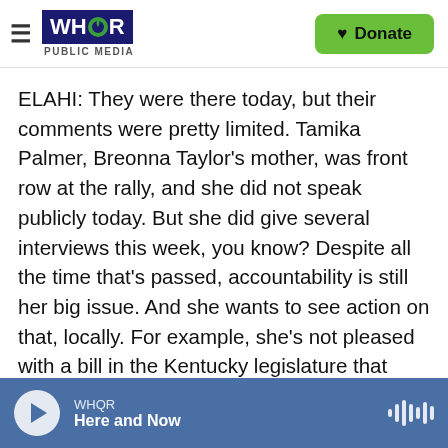WHQR PUBLIC MEDIA | Donate
ELAHI: They were there today, but their comments were pretty limited. Tamika Palmer, Breonna Taylor's mother, was front row at the rally, and she did not speak publicly today. But she did give several interviews this week, you know? Despite all the time that's passed, accountability is still her big issue. And she wants to see action on that, locally. For example, she's not pleased with a bill in the Kentucky legislature that limits no-knock warrants. Here's what she told us yesterday.
TAMIKA PALMER: That law is crap. There's no accountability into it. I mean, they totally
WHQR | Here and Now